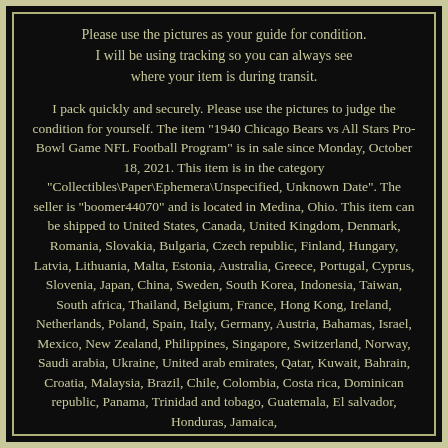Please use the pictures as your guide for condition. I will be using tracking so you can always see where your item is during transit.
I pack quickly and securely. Please use the pictures to judge the condition for yourself. The item "1940 Chicago Bears vs All Stars Pro-Bowl Game NFL Football Program" is in sale since Monday, October 18, 2021. This item is in the category "Collectibles\Paper\Ephemera\Unspecified, Unknown Date". The seller is "boomer44070" and is located in Medina, Ohio. This item can be shipped to United States, Canada, United Kingdom, Denmark, Romania, Slovakia, Bulgaria, Czech republic, Finland, Hungary, Latvia, Lithuania, Malta, Estonia, Australia, Greece, Portugal, Cyprus, Slovenia, Japan, China, Sweden, South Korea, Indonesia, Taiwan, South africa, Thailand, Belgium, France, Hong Kong, Ireland, Netherlands, Poland, Spain, Italy, Germany, Austria, Bahamas, Israel, Mexico, New Zealand, Philippines, Singapore, Switzerland, Norway, Saudi arabia, Ukraine, United arab emirates, Qatar, Kuwait, Bahrain, Croatia, Malaysia, Brazil, Chile, Colombia, Costa rica, Dominican republic, Panama, Trinidad and tobago, Guatemala, El salvador, Honduras, Jamaica,